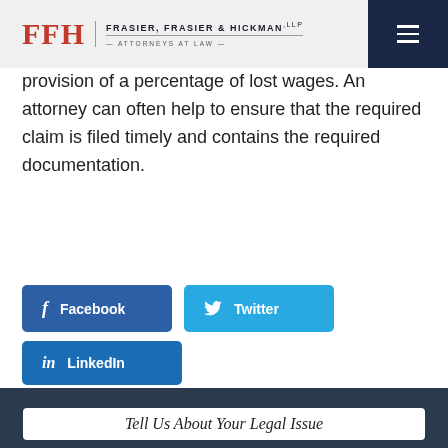FFH Frasier, Frasier & Hickman, LLP — Attorneys at Law
provision of a percentage of lost wages. An attorney can often help to ensure that the required claim is filed timely and contains the required documentation.
[Figure (other): Social sharing buttons: Facebook (dark blue), Twitter (light blue), LinkedIn (medium blue)]
Tell Us About Your Legal Issue